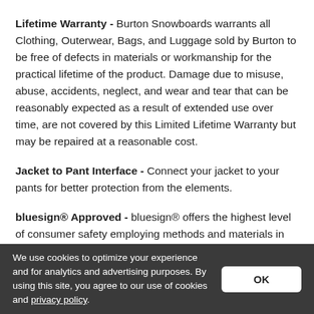Lifetime Warranty - Burton Snowboards warrants all Clothing, Outerwear, Bags, and Luggage sold by Burton to be free of defects in materials or workmanship for the practical lifetime of the product. Damage due to misuse, abuse, accidents, neglect, and wear and tear that can be reasonably expected as a result of extended use over time, are not covered by this Limited Lifetime Warranty but may be repaired at a reasonable cost.
Jacket to Pant Interface - Connect your jacket to your pants for better protection from the elements.
bluesign® Approved - bluesign® offers the highest level of consumer safety employing methods and materials in their
We use cookies to optimize your experience and for analytics and advertising purposes. By using this site, you agree to our use of cookies and privacy policy.